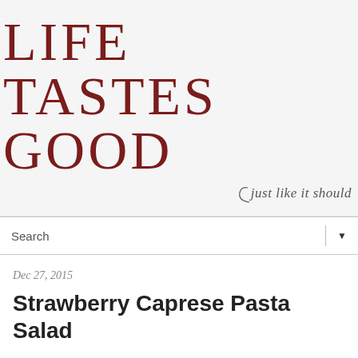LIFE TASTES GOOD just like it should
Search
Dec 27, 2015
Strawberry Caprese Pasta Salad
This post is sponsored by the Florida Strawberry Growers Association in conjunction with a social media campaign through Sunday Supper LLC. All opinions are my own.